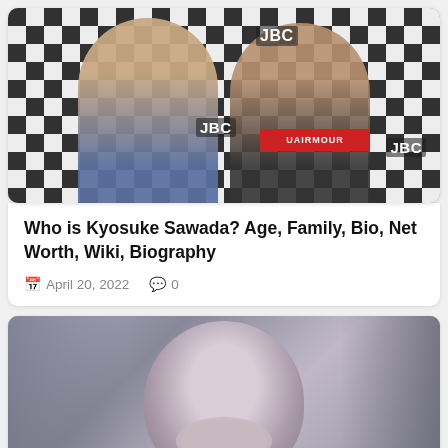[Figure (photo): Two shirtless male boxers posing in front of a JBC (Japan Boxing Commission) checkered backdrop]
Who is Kyosuke Sawada? Age, Family, Bio, Net Worth, Wiki, Biography
April 20, 2022   0
[Figure (photo): Black and white photo of a smiling young woman with hair pulled back, with a close button in the bottom right corner]